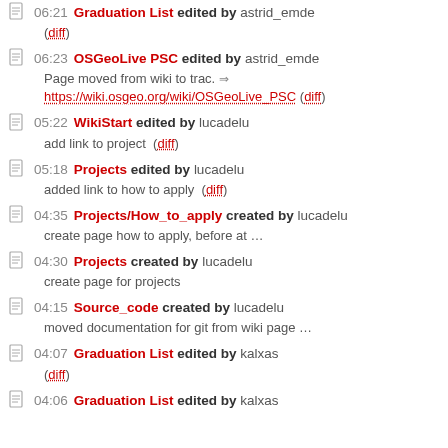06:21 Graduation List edited by astrid_emde (diff)
06:23 OSGeoLive PSC edited by astrid_emde — Page moved from wiki to trac. https://wiki.osgeo.org/wiki/OSGeoLive_PSC (diff)
05:22 WikiStart edited by lucadelu — add link to project (diff)
05:18 Projects edited by lucadelu — added link to how to apply (diff)
04:35 Projects/How_to_apply created by lucadelu — create page how to apply, before at ...
04:30 Projects created by lucadelu — create page for projects
04:15 Source_code created by lucadelu — moved documentation for git from wiki page ...
04:07 Graduation List edited by kalxas (diff)
04:06 Graduation List edited by kalxas